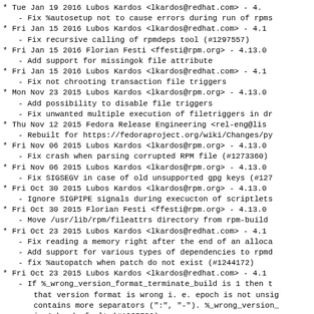* Tue Jan 19 2016 Lubos Kardos <lkardos@redhat.com> - 4.
  - Fix %autosetup not to cause errors during run of rpms
* Fri Jan 15 2016 Lubos Kardos <lkardos@redhat.com> - 4.1
  - Fix recursive calling of rpmdeps tool (#1297557)
* Fri Jan 15 2016 Florian Festi <ffesti@rpm.org> - 4.13.0
  - Add support for missingok file attribute
* Fri Jan 15 2016 Lubos Kardos <lkardos@redhat.com> - 4.1
  - Fix not chrooting transaction file triggers
* Mon Nov 23 2015 Lubos Kardos <lkardos@rpm.org> - 4.13.0
  - Add possibility to disable file triggers
  - Fix unwanted multiple execution of filetriggers in dr
* Thu Nov 12 2015 Fedora Release Engineering <rel-eng@lis
  - Rebuilt for https://fedoraproject.org/wiki/Changes/py
* Fri Nov 06 2015 Lubos Kardos <lkardos@rpm.org> - 4.13.0
  - Fix crash when parsing corrupted RPM file (#1273360)
* Fri Nov 06 2015 Lubos Kardos <lkardos@rpm.org> - 4.13.0
  - Fix SIGSEGV in case of old unsupported gpg keys (#127
* Fri Oct 30 2015 Lubos Kardos <lkardos@rpm.org> - 4.13.0
  - Ignore SIGPIPE signals during execucton of scriptlets
* Fri Oct 30 2015 Florian Festi <ffesti@rpm.org> - 4.13.0
  - Move /usr/lib/rpm/fileattrs directory from rpm-build
* Fri Oct 23 2015 Lubos Kardos <lkardos@redhat.com> - 4.1
  - Fix reading a memory right after the end of an alloca
  - Add support for various types of dependencies to rpmd
  - fix %autopatch when patch do not exist (#1244172)
* Fri Oct 23 2015 Lubos Kardos <lkardos@redhat.com> - 4.1
  - If %_wrong_version_format_terminate_build is 1 then t
    that version format is wrong i. e. epoch is not unsig
    contains more separators (":", "-"). %_wrong_version_
    is 1 by deafault (#1265700)